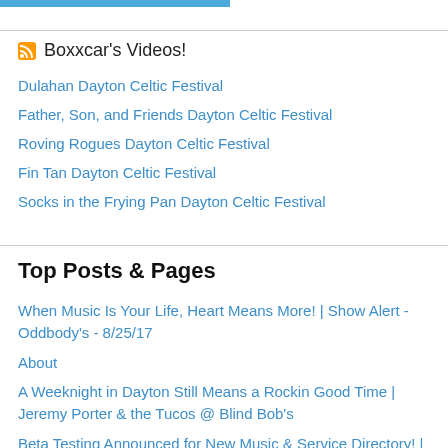[Figure (other): Blue horizontal bar at top of page]
Boxxcar's Videos!
Dulahan Dayton Celtic Festival
Father, Son, and Friends Dayton Celtic Festival
Roving Rogues Dayton Celtic Festival
Fin Tan Dayton Celtic Festival
Socks in the Frying Pan Dayton Celtic Festival
Top Posts & Pages
When Music Is Your Life, Heart Means More! | Show Alert - Oddbody's - 8/25/17
About
A Weeknight in Dayton Still Means a Rockin Good Time | Jeremy Porter & the Tucos @ Blind Bob's
Beta Testing Announced for New Music & Service Directory! | Dayton, Ohio